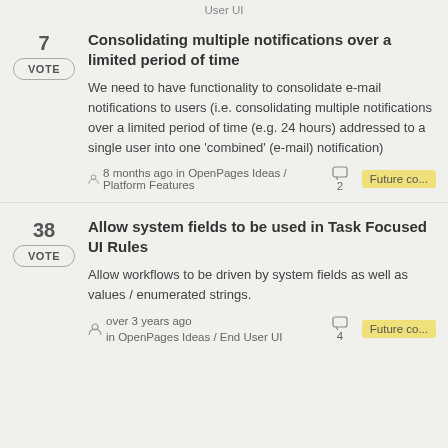User UI
7 votes — Consolidating multiple notifications over a limited period of time. We need to have functionality to consolidate e-mail notifications to users (i.e. consolidating multiple notifications over a limited period of time (e.g. 24 hours) addressed to a single user into one 'combined' (e-mail) notification). 8 months ago in OpenPages Ideas / Platform Features. 2 comments. Future co...
38 votes — Allow system fields to be used in Task Focused UI Rules. Allow workflows to be driven by system fields as well as values / enumerated strings. over 3 years ago in OpenPages Ideas / End User UI. 4 comments. Future co...